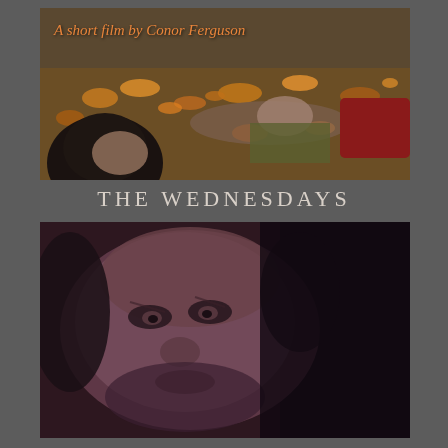[Figure (photo): Film still showing two people lying on the ground covered in autumn leaves. Text overlay reads 'A short film by Conor Ferguson' in orange italic text.]
THE WEDNESDAYS
[Figure (photo): Film still showing a close-up of a man's face with intense expression, dark and moody lighting with a dark background, desaturated reddish-purple tone.]